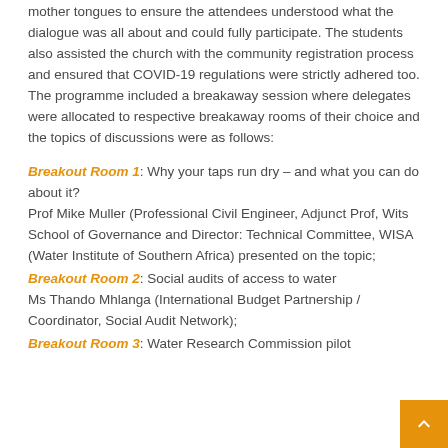mother tongues to ensure the attendees understood what the dialogue was all about and could fully participate. The students also assisted the church with the community registration process and ensured that COVID-19 regulations were strictly adhered too. The programme included a breakaway session where delegates were allocated to respective breakaway rooms of their choice and the topics of discussions were as follows:
Breakout Room 1: Why your taps run dry – and what you can do about it? Prof Mike Muller (Professional Civil Engineer, Adjunct Prof, Wits School of Governance and Director: Technical Committee, WISA (Water Institute of Southern Africa) presented on the topic;
Breakout Room 2: Social audits of access to water Ms Thando Mhlanga (International Budget Partnership / Coordinator, Social Audit Network);
Breakout Room 3: Water Research Commission pilot